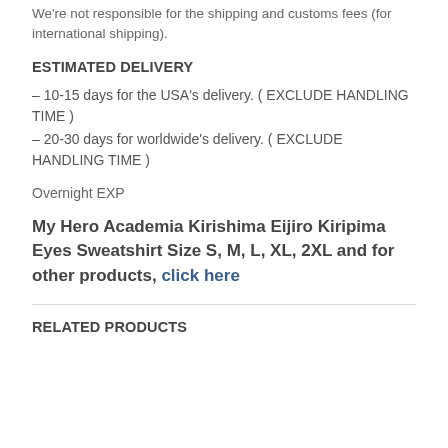We're not responsible for the shipping and customs fees (for international shipping).
ESTIMATED DELIVERY
– 10-15 days for the USA's delivery. ( EXCLUDE HANDLING TIME )
– 20-30 days for worldwide's delivery. ( EXCLUDE HANDLING TIME )
Overnight EXP
My Hero Academia Kirishima Eijiro Kiripima Eyes Sweatshirt Size S, M, L, XL, 2XL and for other products, click here
RELATED PRODUCTS